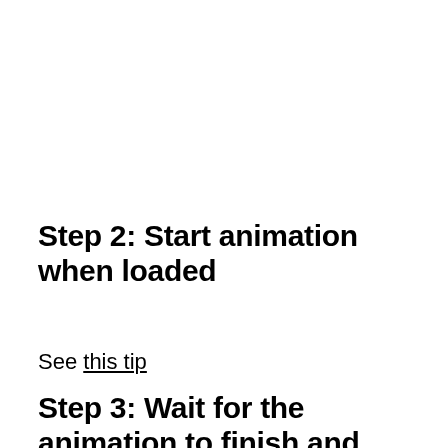Step 2: Start animation when loaded
See this tip
Step 3: Wait for the animation to finish and switch page